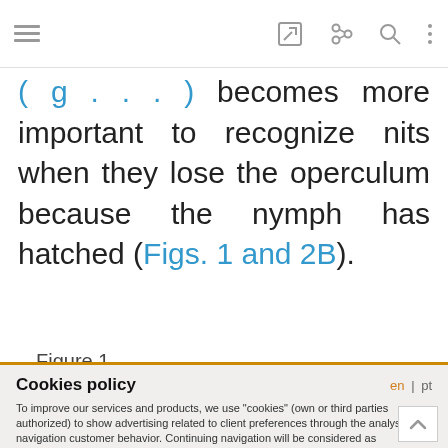(fig. ...) ... becomes more important to recognize nits when they lose the operculum because the nymph has hatched (Figs. 1 and 2B).
Figure 1.
Cookies policy
To improve our services and products, we use "cookies" (own or third parties authorized) to show advertising related to client preferences through the analyses of navigation customer behavior. Continuing navigation will be considered as acceptance of this use. You can change the settings or obtain more information by clicking here.
Ok